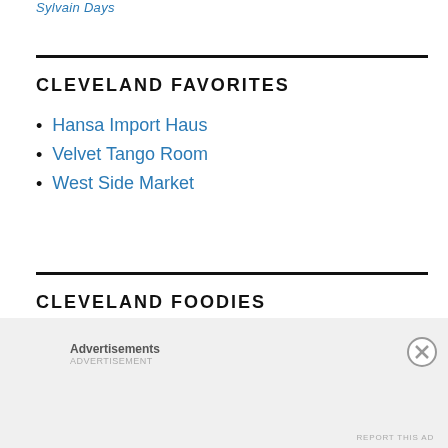Sylvain Days
CLEVELAND FAVORITES
Hansa Import Haus
Velvet Tango Room
West Side Market
CLEVELAND FOODIES
Advertisements